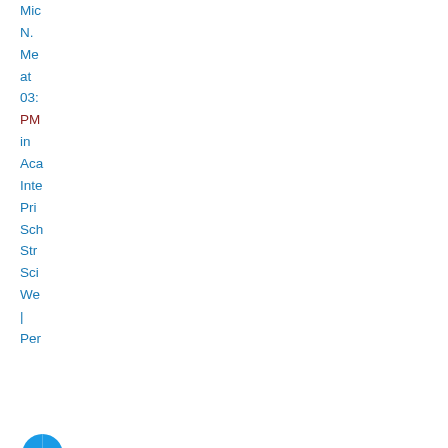Mic
N.
Me
at
03:
PM
in
Aca
Inte
Pri
Sch
Str
Sci
We
|
Per
[Figure (logo): Blue circle/Coursera-style logo, partially visible]
Co
You
can
foll
this
con
by
sub
to
the